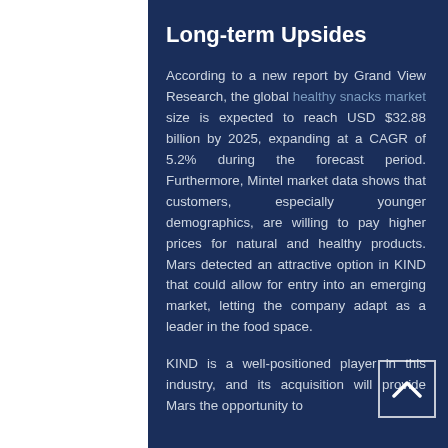Long-term Upsides
According to a new report by Grand View Research, the global healthy snacks market size is expected to reach USD $32.88 billion by 2025, expanding at a CAGR of 5.2% during the forecast period. Furthermore, Mintel market data shows that customers, especially younger demographics, are willing to pay higher prices for natural and healthy products. Mars detected an attractive option in KIND that could allow for entry into an emerging market, letting the company adapt as a leader in the food space.
KIND is a well-positioned player in this industry, and its acquisition will provide Mars the opportunity to